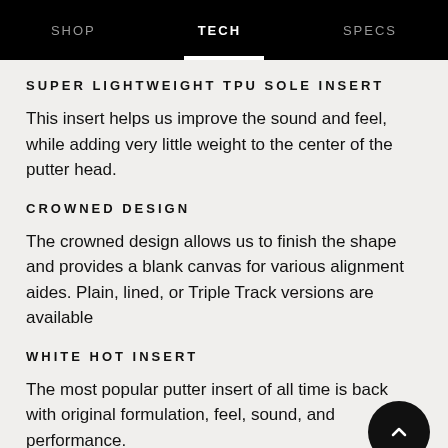SHOP   TECH   SPECS
SUPER LIGHTWEIGHT TPU SOLE INSERT
This insert helps us improve the sound and feel, while adding very little weight to the center of the putter head.
CROWNED DESIGN
The crowned design allows us to finish the shape and provides a blank canvas for various alignment aides. Plain, lined, or Triple Track versions are available
WHITE HOT INSERT
The most popular putter insert of all time is back with original formulation, feel, sound, and performance.